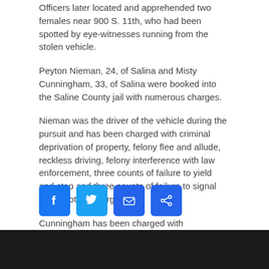Officers later located and apprehended two females near 900 S. 11th, who had been spotted by eye-witnesses running from the stolen vehicle.
Peyton Nieman, 24, of Salina and Misty Cunningham, 33, of Salina were booked into the Saline County jail with numerous charges.
Nieman was the driver of the vehicle during the pursuit and has been charged with criminal deprivation of property, felony flee and allude, reckless driving, felony interference with law enforcement, three counts of failure to yield and stop and three counts of failure to signal among other charges.
Cunningham has been charged with misdemeanor obstruction of law enforcement.
]